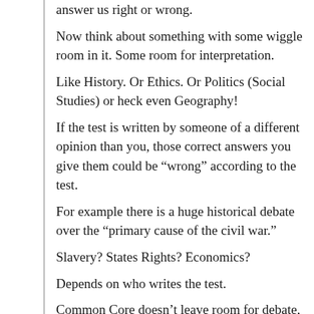answer us right or wrong.
Now think about something with some wiggle room in it. Some room for interpretation.
Like History. Or Ethics. Or Politics (Social Studies) or heck even Geography!
If the test is written by someone of a different opinion than you, those correct answers you give them could be “wrong” according to the test.
For example there is a huge historical debate over the “primary cause of the civil war.”
Slavery? States Rights? Economics?
Depends on who writes the test.
Common Core doesn’t leave room for debate, just tests.
And now even the right answer could be wrong just